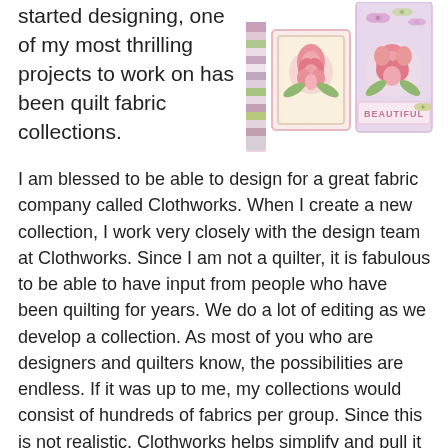started designing, one of my most thrilling projects to work on has been quilt fabric collections.
[Figure (illustration): Decorative fabric swatch strip, rose card with border, and beautiful floral card with butterflies and text 'BEAUTIFUL']
I am blessed to be able to design for a great fabric company called Clothworks. When I create a new collection, I work very closely with the design team at Clothworks. Since I am not a quilter, it is fabulous to be able to have input from people who have been quilting for years. We do a lot of editing as we develop a collection. As most of you who are designers and quilters know, the possibilities are endless. If it was up to me, my collections would consist of hundreds of fabrics per group. Since this is not realistic, Clothworks helps simplify and pull it all together beautifully.
[Figure (illustration): Colorful quilt fabric sample with purple and green stripes and floral motifs on pink background]
“Bliss” was originally a collection I did that I called